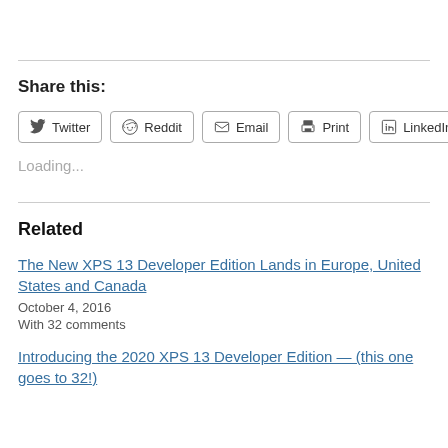Share this:
Twitter
Reddit
Email
Print
LinkedIn
Loading...
Related
The New XPS 13 Developer Edition Lands in Europe, United States and Canada
October 4, 2016
With 32 comments
Introducing the 2020 XPS 13 Developer Edition — (this one goes to 32!)